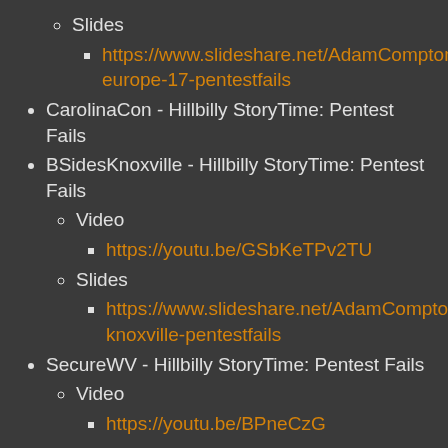Slides
https://www.slideshare.net/AdamCompton4/infosec-europe-17-pentestfails
CarolinaCon - Hillbilly StoryTime: Pentest Fails
BSidesKnoxville - Hillbilly StoryTime: Pentest Fails
Video
https://youtu.be/GSbKeTPv2TU
Slides
https://www.slideshare.net/AdamCompton4/bsides-knoxville-pentestfails
SecureWV - Hillbilly StoryTime: Pentest Fails
Video
https://youtu.be/BPneCzG